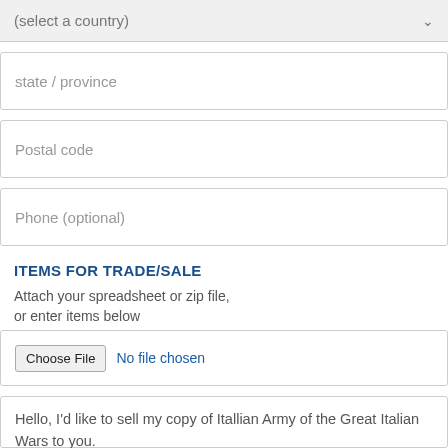(select a country)
state / province
Postal code
Phone (optional)
ITEMS FOR TRADE/SALE
Attach your spreadsheet or zip file, or enter items below
Choose File  No file chosen
Hello, I'd like to sell my copy of Itallian Army of the Great Italian Wars to you.